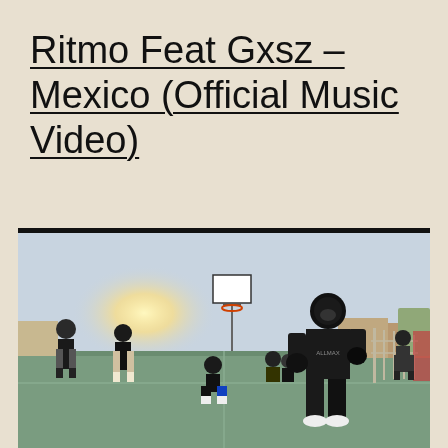Ritmo Feat Gxsz – Mexico (Official Music Video)
[Figure (photo): Outdoor basketball court scene at sunset with several people. A person in a black ski mask and dark athletic wear with 'ALLMAX' t-shirt stands in the foreground in a fighting stance wearing gloves. Other people stand around the court watching. A basketball hoop/backboard is visible in the background against a bright sunset sky. A fence and buildings are visible in the background.]